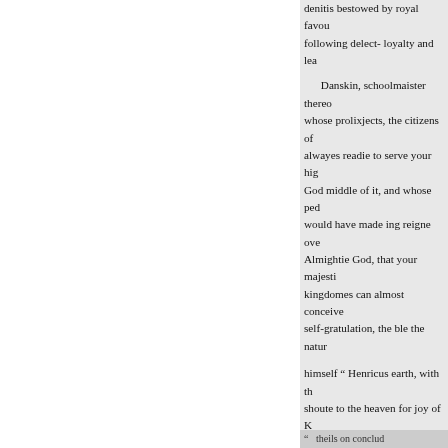denitis bestowed by royal favour following delect- loyalty and lea...
Danskin, schoolmaister thereo whose prolixjects, the citizens of alwayes readie to serve your hig God middle of it, and whose ped would have made ing reigne ove Almightie God, that your majesti kingdomes can almost conceive self-gratulation, the ble the natur
himself " Henricus earth, with th shoute to the heaven for joy of K moderator." his long absence, we welcome home againe to your an and of the University thought oth hastening niel Perth."
from his seat of suffering to the g sanctuar! ryllis expostulates and of the long- met at the very porc eloquence, by D. the occasion, in
" theils on conclud...